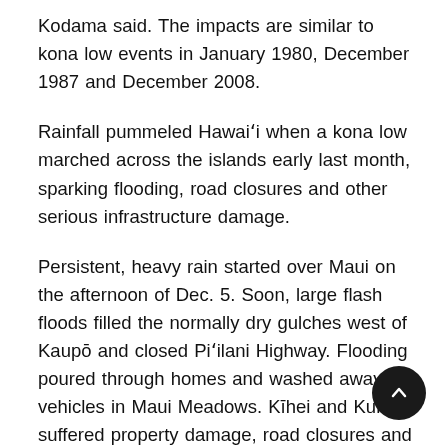Kodama said. The impacts are similar to kona low events in January 1980, December 1987 and December 2008.
Rainfall pummeled Hawai'i when a kona low marched across the islands early last month, sparking flooding, road closures and other serious infrastructure damage.
Persistent, heavy rain started over Maui on the afternoon of Dec. 5. Soon, large flash floods filled the normally dry gulches west of Kaupō and closed Pi'ilani Highway. Flooding poured through homes and washed away vehicles in Maui Meadows. Kīhei and Kula suffered property damage, road closures and other impacts as well.